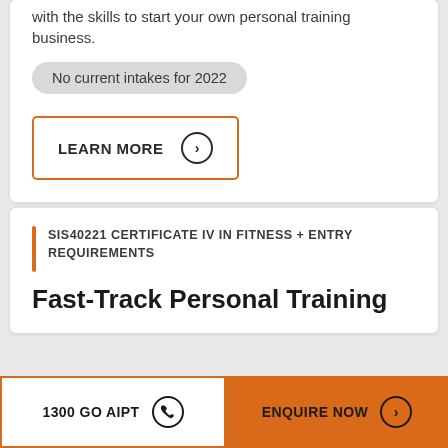with the skills to start your own personal training business.
No current intakes for 2022
LEARN MORE
SIS40221 CERTIFICATE IV IN FITNESS + ENTRY REQUIREMENTS
Fast-Track Personal Training
1300 GO AIPT
ENQUIRE NOW